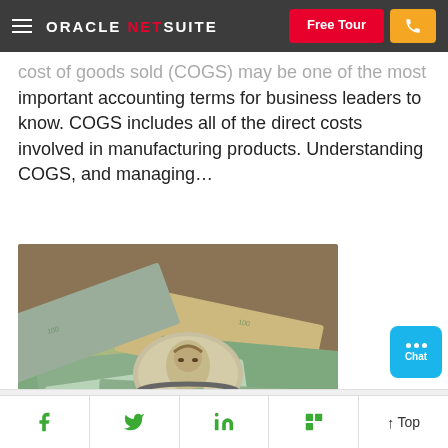ORACLE NETSUITE
cost of goods sold (COGS) may be one of the most important accounting terms for business leaders to know. COGS includes all of the direct costs involved in manufacturing products. Understanding COGS, and managing…
[Figure (photo): A rolled-up $100 bill secured with a rubber band lying on a spread of various US dollar bills on a wooden surface.]
f  Twitter  in  Flipboard  ↑ Top